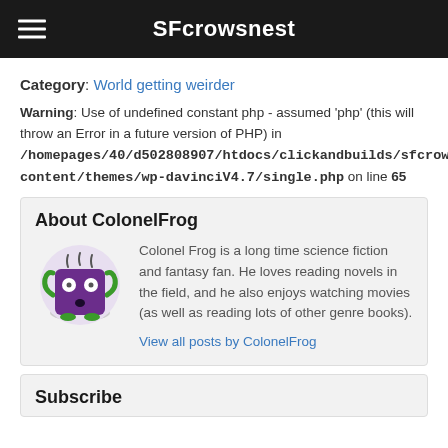SFcrowsnest
Category: World getting weirder
Warning: Use of undefined constant php - assumed 'php' (this will throw an Error in a future version of PHP) in /homepages/40/d502808907/htdocs/clickandbuilds/sfcrowsnest/wp-content/themes/wp-davinciV4.7/single.php on line 65
About ColonelFrog
[Figure (illustration): Cartoon avatar of ColonelFrog: a purple square-shaped character with green arms and legs, white eyes, on a circular light purple/pink background with a grey shadow at the bottom.]
Colonel Frog is a long time science fiction and fantasy fan. He loves reading novels in the field, and he also enjoys watching movies (as well as reading lots of other genre books).
View all posts by ColonelFrog
Subscribe